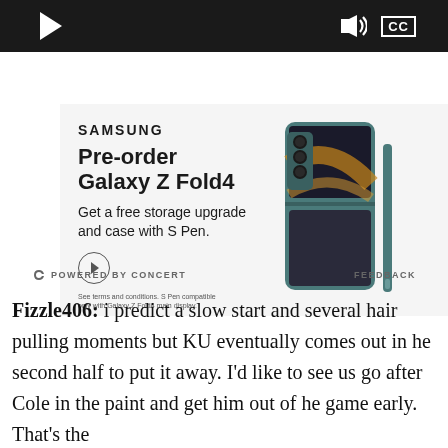[Figure (screenshot): Video player controls bar: play button on left, volume and CC icons on right, dark background]
[Figure (screenshot): Samsung advertisement for Galaxy Z Fold4: 'Pre-order Galaxy Z Fold4 – Get a free storage upgrade and case with S Pen.' with phone product image on right side, light gray background, Samsung logo, CTA arrow button, fine print at bottom]
POWERED BY CONCERT    FEEDBACK
Fizzle406: i predict a slow start and several hair pulling moments but KU eventually comes out in he second half to put it away. I'd like to see us go after Cole in the paint and get him out of he game early. That's the